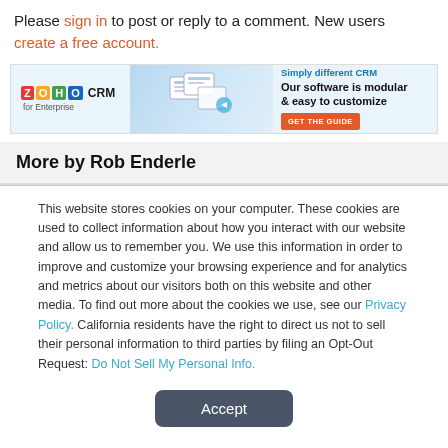Please sign in to post or reply to a comment. New users create a free account.
[Figure (infographic): Zoho CRM advertisement banner: 'Simply different CRM – Our software is modular & easy to customize' with a GET THE GUIDE button]
More by Rob Enderle
This website stores cookies on your computer. These cookies are used to collect information about how you interact with our website and allow us to remember you. We use this information in order to improve and customize your browsing experience and for analytics and metrics about our visitors both on this website and other media. To find out more about the cookies we use, see our Privacy Policy. California residents have the right to direct us not to sell their personal information to third parties by filing an Opt-Out Request: Do Not Sell My Personal Info.
Accept